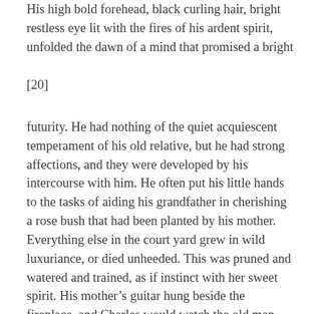His high bold forehead, black curling hair, bright restless eye lit with the fires of his ardent spirit, unfolded the dawn of a mind that promised a bright
[20]
futurity. He had nothing of the quiet acquiescent temperament of his old relative, but he had strong affections, and they were developed by his intercourse with him. He often put his little hands to the tasks of aiding his grandfather in cherishing a rose bush that had been planted by his mother. Everything else in the court yard grew in wild luxuriance, or died unheeded. This was pruned and watered and trained, as if instinct with her sweet spirit. His mother's guitar hung beside the fireplace, and Charles would watch the old man has he leaned his head against it and his white lock fell over its broken strings, and silently creep into his lap and lay his head on his bosom, and this express the deep and almost mystical sympathy that united them, and which made him feel (to borrow the expression of the beautiful deaf mute, whose life has recently fallen a sacrifice to her filial tenderness) as if his heart grew close to his parent's.